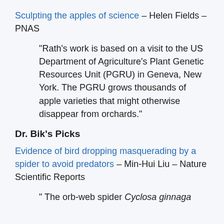Sculpting the apples of science – Helen Fields – PNAS
“Rath’s work is based on a visit to the US Department of Agriculture’s Plant Genetic Resources Unit (PGRU) in Geneva, New York. The PGRU grows thousands of apple varieties that might otherwise disappear from orchards.”
Dr. Bik’s Picks
Evidence of bird dropping masquerading by a spider to avoid predators – Min-Hui Liu – Nature Scientific Reports
“ The orb-web spider Cyclosa ginnaga